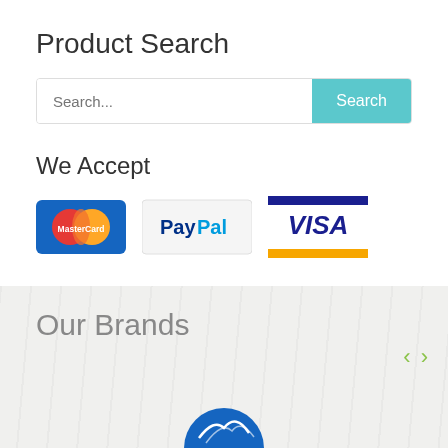Product Search
[Figure (screenshot): Search bar with placeholder text 'Search...' and a teal 'Search' button]
We Accept
[Figure (infographic): Payment method logos: MasterCard, PayPal, and Visa]
Our Brands
[Figure (logo): Partial circular blue brand logo at bottom of page]